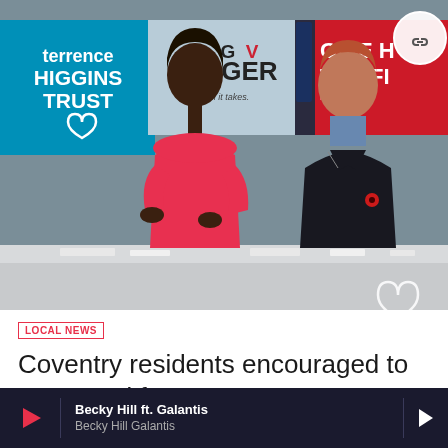[Figure (photo): Photo of a woman in a red outfit demonstrating an HIV test to Prince Harry, with Terrence Higgins Trust and other banners visible in the background]
LOCAL NEWS
Coventry residents encouraged to get tested for HIV
Becky Hill ft. Galantis Becky Hill Galantis